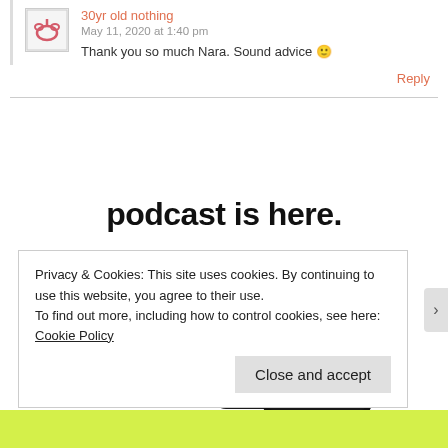30yr old nothing
May 11, 2020 at 1:40 pm
Thank you so much Nara. Sound advice 🙂
Reply
[Figure (screenshot): Advertisement image showing two smartphones with 'Up Next' podcast interface, a blue play button triangle outline, and blue background card. Text reads 'podcast is here.']
Privacy & Cookies: This site uses cookies. By continuing to use this website, you agree to their use.
To find out more, including how to control cookies, see here: Cookie Policy
Close and accept